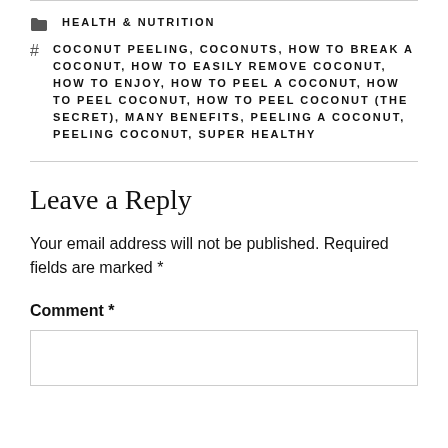HEALTH & NUTRITION
COCONUT PEELING, COCONUTS, HOW TO BREAK A COCONUT, HOW TO EASILY REMOVE COCONUT, HOW TO ENJOY, HOW TO PEEL A COCONUT, HOW TO PEEL COCONUT, HOW TO PEEL COCONUT (THE SECRET), MANY BENEFITS, PEELING A COCONUT, PEELING COCONUT, SUPER HEALTHY
Leave a Reply
Your email address will not be published. Required fields are marked *
Comment *